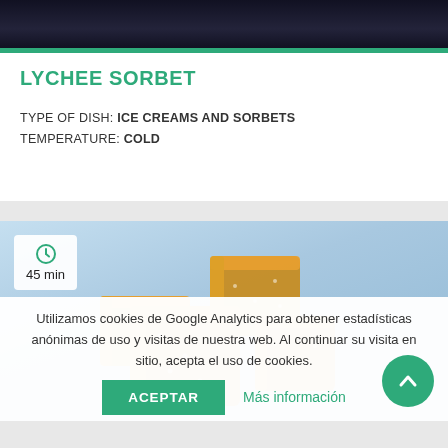[Figure (photo): Dark top portion of a food/recipe website page, dark background]
LYCHEE SORBET
TYPE OF DISH: ICE CREAMS AND SORBETS
TEMPERATURE: COLD
[Figure (photo): Food photo showing golden/orange gummy candy cubes with sugar crystals on a light blue background, with a time badge showing 45 min]
Utilizamos cookies de Google Analytics para obtener estadísticas anónimas de uso y visitas de nuestra web. Al continuar su visita en sitio, acepta el uso de cookies.
ACEPTAR    Más información